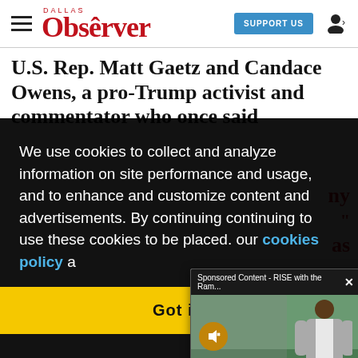Dallas Observer — SUPPORT US
U.S. Rep. Matt Gaetz and Candace Owens, a pro-Trump activist and commentator who once said
We use cookies to collect and analyze information on site performance and usage, and to enhance and customize content and advertisements. By continuing to use the site, you agree to allow cookies to be placed. To find out more, visit our cookies policy a…
[Figure (screenshot): Sponsored content video popup: 'Sponsored Content - RISE with the Ram...' showing a man in a suit jacket standing outside a stadium, with a mute button overlay and caption 'Rise with the Rams: Using the power of sports to build community connections to end racism']
Got it!